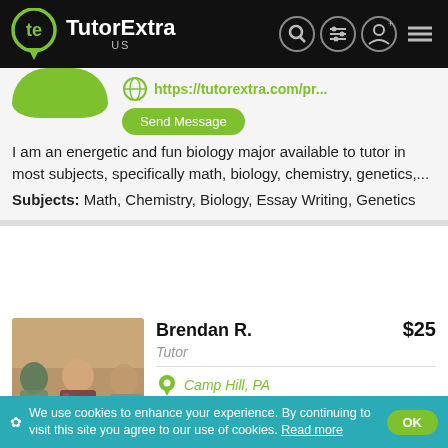TutorExtra US
[Figure (screenshot): Green circle partial profile image at top left]
https://tutorextra.com/pr...
Send Message
I am an energetic and fun biology major available to tutor in most subjects, specifically math, biology, chemistry, genetics,...
Subjects: Math, Chemistry, Biology, Essay Writing, Genetics
[Figure (photo): Photo of Brendan R. with two other people standing indoors]
Brendan R. $25
Tutor
Camp Hill, PA
https://tutorextra.com/pr...
We use cookies to enhance your experience. By continuing to visit this site you agree to our use of cookies. Read more OK